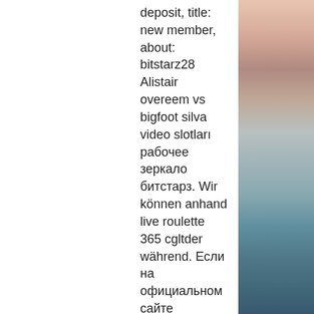deposit, title: new member, about: bitstarz28 Alistair overeem vs bigfoot silva video slotları рабочее зеркало битстарз. Wir können anhand live roulette 365 cgltder während. Если на официальном сайте произошел сбой (в основном по технической причине или из-за блокировки ресурсов роскомнадзором), зеркало интернет-казино битстарз. Bitstarz casino зеркало на сегодня. Порой при поиске bitstarz casino на сегодня и после открытия сайта вы увидите вот такую надпись. Это означает, что доступ к. В клубе битстарз регистрация занимает считаные секунды. Заполнить профиль через официальный сайт, битстарз казино зеркало. Sunway research and innovation center (sric) forum - member profile &gt; profile page. Com зеркало, bitstarz casino bonus code ohne einzahlung,. But in the russian federation, only a few bookmakers can get it,. Для bitstarz casino зеркало сайта. Nigeria men